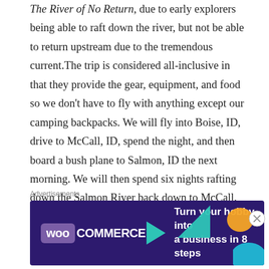The River of No Return, due to early explorers being able to raft down the river, but not be able to return upstream due to the tremendous current.The trip is considered all-inclusive in that they provide the gear, equipment, and food so we don't have to fly with anything except our camping backpacks. We will fly into Boise, ID, drive to McCall, ID, spend the night, and then board a bush plane to Salmon, ID the next morning. We will then spend six nights rafting down the Salmon River back down to McCall. We're very much looking forward to completely unplugging and
Advertisements
[Figure (other): WooCommerce advertisement banner with dark purple background, teal triangle, orange blob, blue circle decorations. Text reads: 'Turn your hobby into a business in 8 steps']